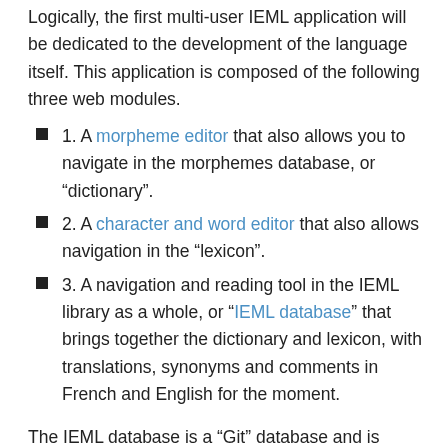Logically, the first multi-user IEML application will be dedicated to the development of the language itself. This application is composed of the following three web modules.
1. A morpheme editor that also allows you to navigate in the morphemes database, or “dictionary”.
2. A character and word editor that also allows navigation in the “lexicon”.
3. A navigation and reading tool in the IEML library as a whole, or “IEML database” that brings together the dictionary and lexicon, with translations, synonyms and comments in French and English for the moment.
The IEML database is a “Git” database and is currently hosted by GitHub. Indeed, a Git database makes it possible to record successive versions of the language, as